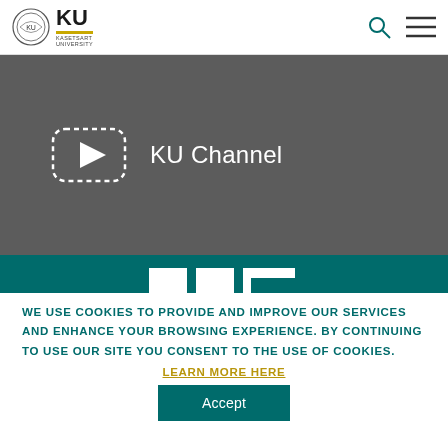KU Kasetsart University
[Figure (screenshot): KU Channel video thumbnail on dark grey background with YouTube-style play button icon and text 'KU Channel']
[Figure (logo): KU logo on teal background, partially visible at bottom]
WE USE COOKIES TO PROVIDE AND IMPROVE OUR SERVICES AND ENHANCE YOUR BROWSING EXPERIENCE. BY CONTINUING TO USE OUR SITE YOU CONSENT TO THE USE OF COOKIES.
LEARN MORE HERE
Accept